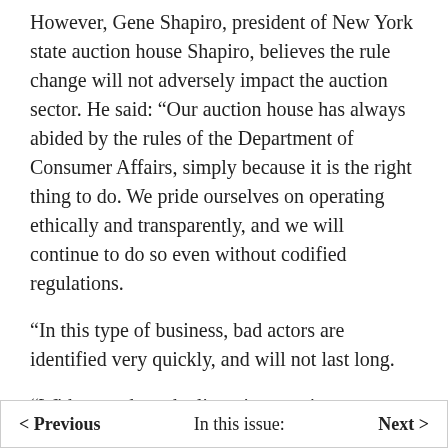However, Gene Shapiro, president of New York state auction house Shapiro, believes the rule change will not adversely impact the auction sector. He said: “Our auction house has always abided by the rules of the Department of Consumer Affairs, simply because it is the right thing to do. We pride ourselves on operating ethically and transparently, and we will continue to do so even without codified regulations.
“In this type of business, bad actors are identified very quickly, and will not last long.
“With regards to the licensing requirements, New York is in dire need of a business friendly climate with less red tape, to stem the exodus of businesses from the city, and I believe that this is a positive development as well.”
< Previous    In this issue:    Next >